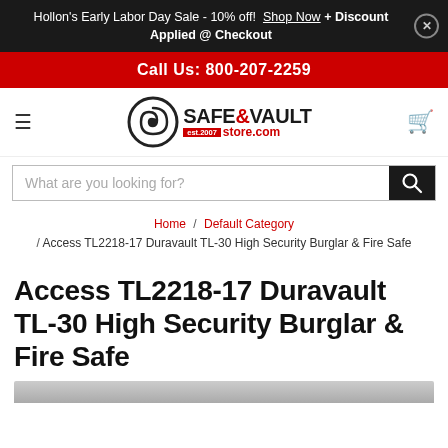Hollon's Early Labor Day Sale - 10% off! Shop Now + Discount Applied @ Checkout
Call Us: 800-207-2259
[Figure (logo): Safe & Vault Store logo with spiral eye graphic and 'SAFE&VAULT est.2007 store.com' text]
What are you looking for?
Home / Default Category / Access TL2218-17 Duravault TL-30 High Security Burglar & Fire Safe
Access TL2218-17 Duravault TL-30 High Security Burglar & Fire Safe